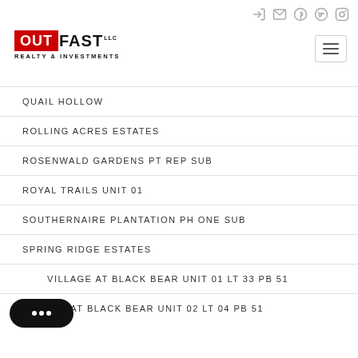OUTFAST REALTY & INVESTMENTS
QUAIL HOLLOW
ROLLING ACRES ESTATES
ROSENWALD GARDENS PT REP SUB
ROYAL TRAILS UNIT 01
SOUTHERNAIRE PLANTATION PH ONE SUB
SPRING RIDGE ESTATES
VILLAGE AT BLACK BEAR UNIT 01 LT 33 PB 51
VILLAGE AT BLACK BEAR UNIT 02 LT 04 PB 51